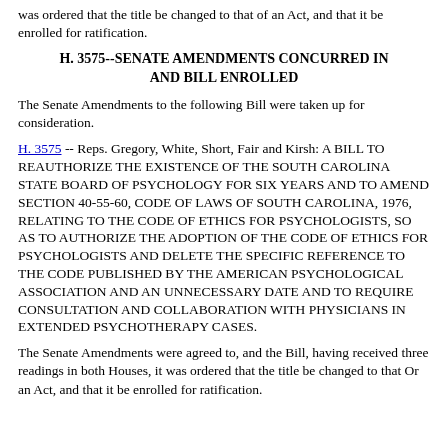was ordered that the title be changed to that of an Act, and that it be enrolled for ratification.
H. 3575--SENATE AMENDMENTS CONCURRED IN AND BILL ENROLLED
The Senate Amendments to the following Bill were taken up for consideration.
H. 3575 -- Reps. Gregory, White, Short, Fair and Kirsh: A BILL TO REAUTHORIZE THE EXISTENCE OF THE SOUTH CAROLINA STATE BOARD OF PSYCHOLOGY FOR SIX YEARS AND TO AMEND SECTION 40-55-60, CODE OF LAWS OF SOUTH CAROLINA, 1976, RELATING TO THE CODE OF ETHICS FOR PSYCHOLOGISTS, SO AS TO AUTHORIZE THE ADOPTION OF THE CODE OF ETHICS FOR PSYCHOLOGISTS AND DELETE THE SPECIFIC REFERENCE TO THE CODE PUBLISHED BY THE AMERICAN PSYCHOLOGICAL ASSOCIATION AND AN UNNECESSARY DATE AND TO REQUIRE CONSULTATION AND COLLABORATION WITH PHYSICIANS IN EXTENDED PSYCHOTHERAPY CASES.
The Senate Amendments were agreed to, and the Bill, having received three readings in both Houses, it was ordered that the title be changed to that Or an Act, and that it be enrolled for ratification.